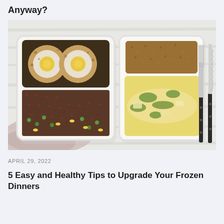Anyway?
[Figure (photo): Two takeaway food containers on a white wooden surface with a fork and knife beside them. Left container has scotch eggs with mixed red rice and vegetables. Right container has a breaded patty with creamy potato and spinach dish.]
APRIL 29, 2022
5 Easy and Healthy Tips to Upgrade Your Frozen Dinners